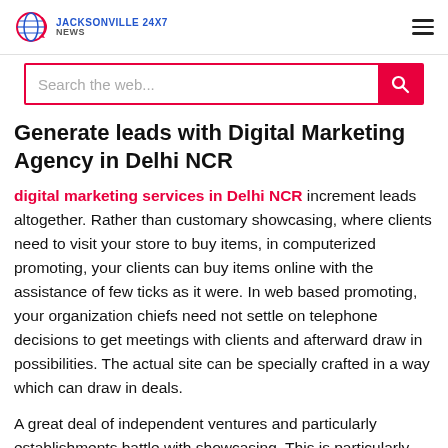Jacksonville 24x7 News
Generate leads with Digital Marketing Agency in Delhi NCR
digital marketing services in Delhi NCR increment leads altogether. Rather than customary showcasing, where clients need to visit your store to buy items, in computerized promoting, your clients can buy items online with the assistance of few ticks as it were. In web based promoting, your organization chiefs need not settle on telephone decisions to get meetings with clients and afterward draw in possibilities. The actual site can be specially crafted in a way which can draw in deals.
A great deal of independent ventures and particularly establishments battle with showcasing. This is particularly evident when the opportunity arrives to choose where and